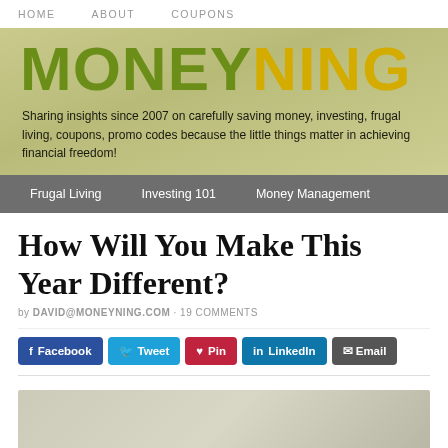HOME   ABOUT   COUPONS
[Figure (logo): MoneyNing logo — MONEY in olive green, NING in yellow, large bold text on a tan/olive gradient background]
Sharing insights since 2007 on carefully saving money, investing, frugal living, coupons, promo codes because the little things matter in achieving financial freedom!
Frugal Living   Investing 101   Money Management
How Will You Make This Year Different?
by DAVID@MONEYNING.COM · 19 COMMENTS
f Facebook   Tweet   Pin   in LinkedIn   Email
[Figure (photo): Partially visible article image, light gray/beige tones]